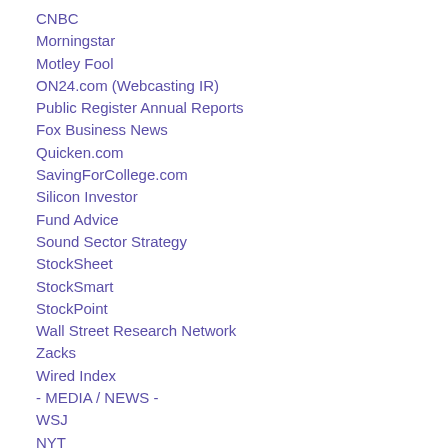CNBC
Morningstar
Motley Fool
ON24.com (Webcasting IR)
Public Register Annual Reports
Fox Business News
Quicken.com
SavingForCollege.com
Silicon Investor
Fund Advice
Sound Sector Strategy
StockSheet
StockSmart
StockPoint
Wall Street Research Network
Zacks
Wired Index
- MEDIA / NEWS -
WSJ
NYT
Google Zeitgeist
Harper's Weekly Review
Salon